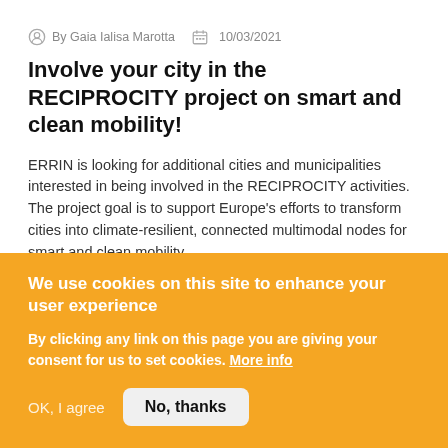By Gaia Ialisa Marotta  10/03/2021
Involve your city in the RECIPROCITY project on smart and clean mobility!
ERRIN is looking for additional cities and municipalities interested in being involved in the RECIPROCITY activities. The project goal is to support Europe’s efforts to transform cities into climate-resilient, connected multimodal nodes for smart and clean mobility.
We use cookies on this site to enhance your user experience
By clicking any link on this page you are giving your consent for us to set cookies. More info
OK, I agree  No, thanks